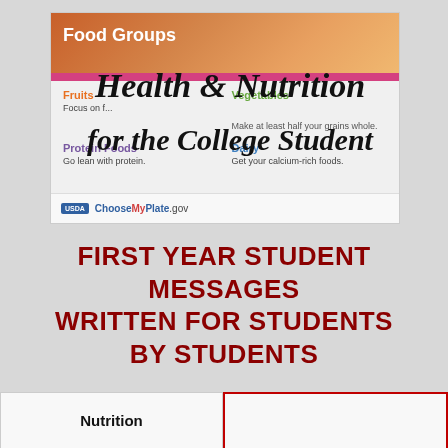[Figure (screenshot): Screenshot of USDA ChooseMyPlate.gov Food Groups webpage showing Fruits, Vegetables, Protein Foods, Dairy, and Grains categories with a handwritten overlay text reading 'Health & Nutrition for the College Student']
FIRST YEAR STUDENT MESSAGES WRITTEN FOR STUDENTS BY STUDENTS
Nutrition